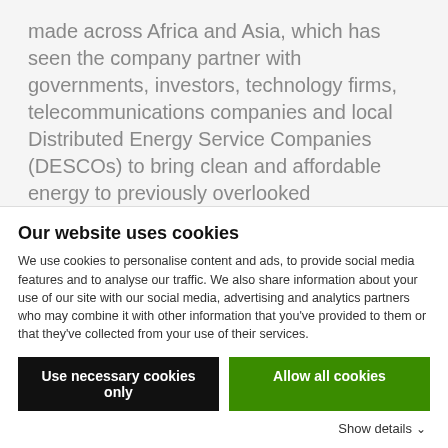made across Africa and Asia, which has seen the company partner with governments, investors, technology firms, telecommunications companies and local Distributed Energy Service Companies (DESCOs) to bring clean and affordable energy to previously overlooked communities.
Bboxx announced a similarly innovative deal with the Government of Togo in December 2017, where the firm won a contract to roll out
Our website uses cookies
We use cookies to personalise content and ads, to provide social media features and to analyse our traffic. We also share information about your use of our site with our social media, advertising and analytics partners who may combine it with other information that you've provided to them or that they've collected from your use of their services.
Use necessary cookies only
Allow all cookies
Show details